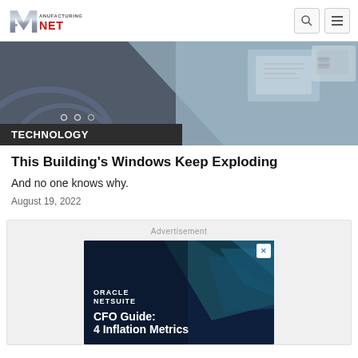Manufacturing.net
[Figure (photo): Hero image showing industrial/technology equipment, partially visible, with navigation dots overlay and a dark 'TECHNOLOGY' label in the lower left]
TECHNOLOGY
This Building's Windows Keep Exploding
And no one knows why.
August 19, 2022
[Figure (screenshot): Oracle NetSuite advertisement: 'CFO Guide: 4 Inflation Metrics' on dark navy background with teal geometric shapes]